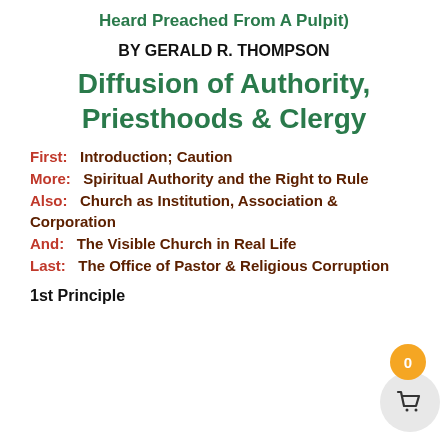Heard Preached From A Pulpit)
BY GERALD R. THOMPSON
Diffusion of Authority, Priesthoods & Clergy
First:   Introduction; Caution
More:   Spiritual Authority and the Right to Rule
Also:   Church as Institution, Association & Corporation
And:   The Visible Church in Real Life
Last:   The Office of Pastor & Religious Corruption
1st Principle